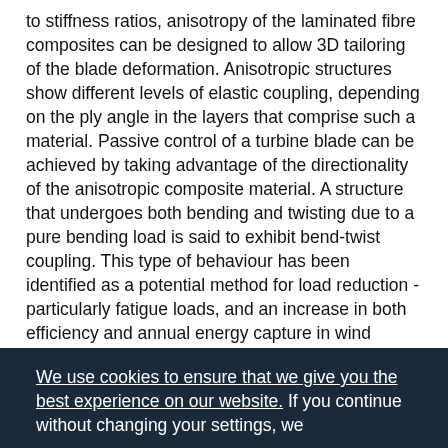to stiffness ratios, anisotropy of the laminated fibre composites can be designed to allow 3D tailoring of the blade deformation. Anisotropic structures show different levels of elastic coupling, depending on the ply angle in the layers that comprise such a material. Passive control of a turbine blade can be achieved by taking advantage of the directionality of the anisotropic composite material. A structure that undergoes both bending and twisting due to a pure bending load is said to exhibit bend-twist coupling. This type of behaviour has been identified as a potential method for load reduction - particularly fatigue loads, and an increase in both efficiency and annual energy capture in wind turbines [1]. Preliminary studies have since shown that this may also be the case for HATTs [2]. A computationally efficient, yet realistic, model has been developed in order to estimate the amount of induced
We use cookies to ensure that we give you the best experience on our website. If you continue without changing your settings, we